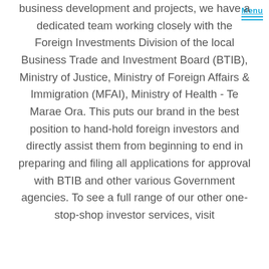business development and projects, we have a dedicated team working closely with the Foreign Investments Division of the local Business Trade and Investment Board (BTIB), Ministry of Justice, Ministry of Foreign Affairs & Immigration (MFAI), Ministry of Health - Te Marae Ora. This puts our brand in the best position to hand-hold foreign investors and directly assist them from beginning to end in preparing and filing all applications for approval with BTIB and other various Government agencies. To see a full range of our other one-stop-shop investor services, visit